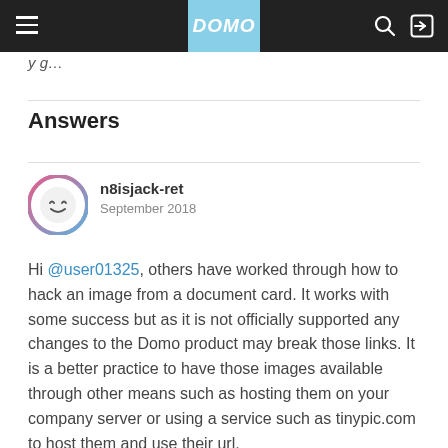DOMO
y g…
Answers
[Figure (illustration): User avatar: circular icon with smiley face, pink and blue border ring]
n8isjack-ret
September 2018
Hi @user01325, others have worked through how to hack an image from a document card. It works with some success but as it is not officially supported any changes to the Domo product may break those links. It is a better practice to have those images available through other means such as hosting them on your company server or using a service such as tinypic.com to host them and use their url.